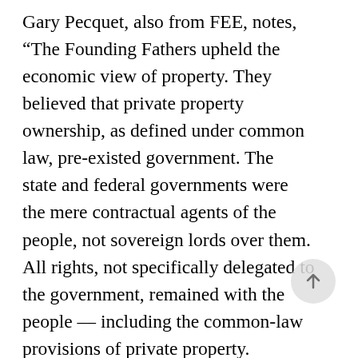Gary Pecquet, also from FEE, notes, “The Founding Fathers upheld the economic view of property. They believed that private property ownership, as defined under common law, pre-existed government. The state and federal governments were the mere contractual agents of the people, not sovereign lords over them. All rights, not specifically delegated to the government, remained with the people -- including the common-law provisions of private property. Consequently, the constitutional rights regarding free speech, freedom of religion, the right of assembly, and private property rights are all claims that individuals may hold and exercise